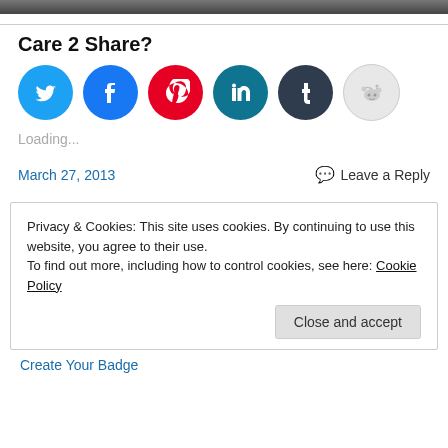[Figure (photo): Cropped top portion of an image, dark/gray tones]
Care 2 Share?
[Figure (infographic): Social sharing buttons: Twitter (blue), Facebook (blue), Pinterest (red), LinkedIn (teal), Tumblr (dark navy), Reddit (light gray)]
Loading...
March 27, 2013
Leave a Reply
Privacy & Cookies: This site uses cookies. By continuing to use this website, you agree to their use.
To find out more, including how to control cookies, see here: Cookie Policy
Close and accept
Create Your Badge